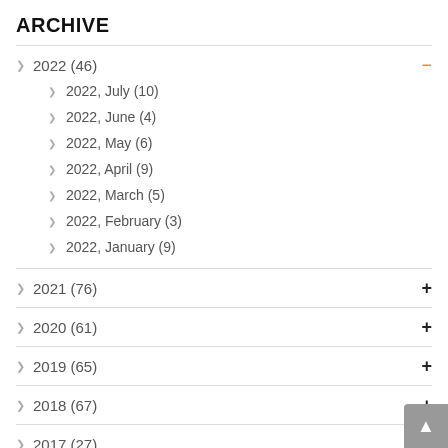ARCHIVE
2022 (46)
2022, July (10)
2022, June (4)
2022, May (6)
2022, April (9)
2022, March (5)
2022, February (3)
2022, January (9)
2021 (76)
2020 (61)
2019 (65)
2018 (67)
2017 (27)